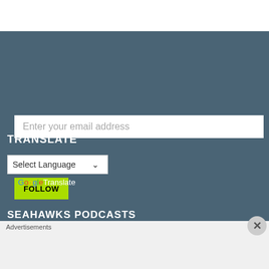[Figure (screenshot): Email input field with placeholder text 'Enter your email address' on dark teal background]
[Figure (screenshot): Green FOLLOW button]
TRANSLATE
[Figure (screenshot): Select Language dropdown with Google Translate branding]
SEAHAWKS PODCASTS
Advertisements
[Figure (screenshot): Seamless food delivery advertisement banner with ORDER NOW button]